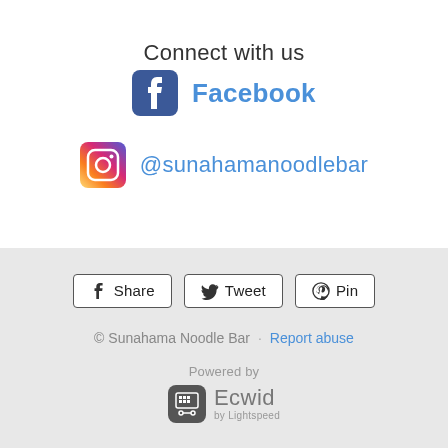Connect with us
Facebook
@sunahamanoodlebar
Share
Tweet
Pin
© Sunahama Noodle Bar · Report abuse
Powered by
[Figure (logo): Ecwid by Lightspeed logo with cart icon]